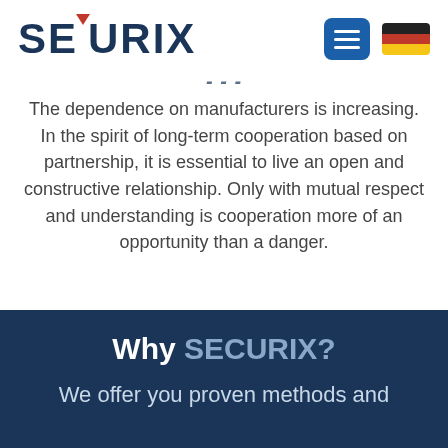[Figure (logo): SECURIX logo in dark navy blue with red downward triangle above the C and X letters, plus a hamburger menu button and German flag on the right]
The dependence on manufacturers is increasing. In the spirit of long-term cooperation based on partnership, it is essential to live an open and constructive relationship. Only with mutual respect and understanding is cooperation more of an opportunity than a danger.
Why SECURIX?
We offer you proven methods and